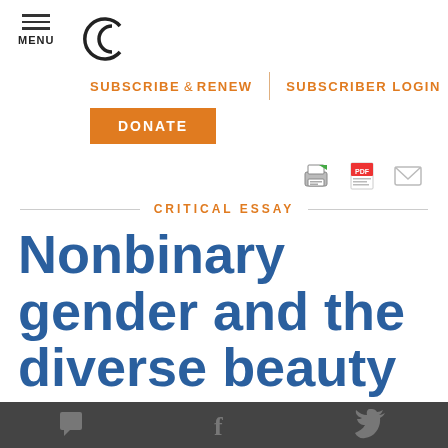MENU | [logo] | SUBSCRIBE & RENEW | SUBSCRIBER LOGIN | DONATE
[Figure (screenshot): Print, PDF, and email share icons]
CRITICAL ESSAY
Nonbinary gender and the diverse beauty of
Comment, Facebook, Twitter icons